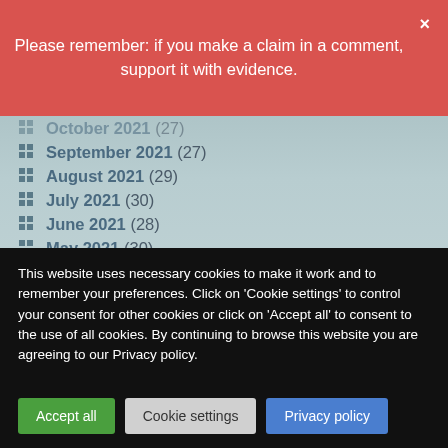Please remember: if you make a claim in a comment, support it with evidence.
October 2021 (27)
September 2021 (27)
August 2021 (29)
July 2021 (30)
June 2021 (28)
May 2021 (30)
April 2021 (27)
March 2021 (27)
February 2021 (24)
January 2021 (27)
This website uses necessary cookies to make it work and to remember your preferences. Click on 'Cookie settings' to control your consent for other cookies or click on 'Accept all' to consent to the use of all cookies. By continuing to browse this website you are agreeing to our Privacy policy.